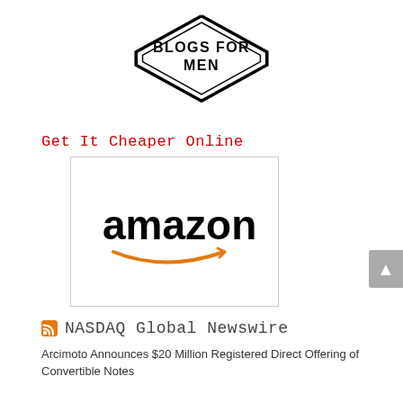[Figure (logo): Partial badge logo with text 'BLOGS FOR MEN' in a diamond/shield shape, black and white]
Get It Cheaper Online
[Figure (logo): Amazon logo with orange smile/arrow underneath, displayed in a bordered white box]
NASDAQ Global Newswire
Arcimoto Announces $20 Million Registered Direct Offering of Convertible Notes